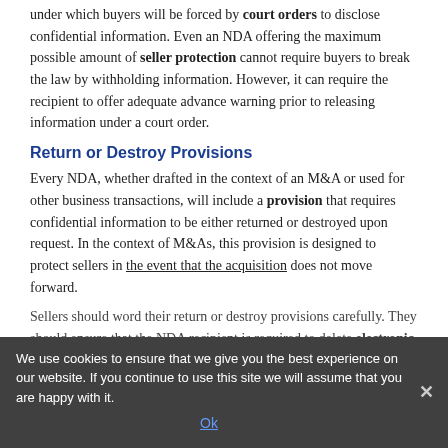under which buyers will be forced by court orders to disclose confidential information. Even an NDA offering the maximum possible amount of seller protection cannot require buyers to break the law by withholding information. However, it can require the recipient to offer adequate advance warning prior to releasing information under a court order.
Return or Destroy Provisions
Every NDA, whether drafted in the context of an M&A or used for other business transactions, will include a provision that requires confidential information to be either returned or destroyed upon request. In the context of M&As, this provision is designed to protect sellers in the event that the acquisition does not move forward.
Sellers should word their return or destroy provisions carefully. They should ensure that the NDA recipient is required to delete electronic files in addition to hard copies and to turn over any analyses that have been performed in-house using confidential documents.
We use cookies to ensure that we give you the best experience on our website. If you continue to use this site we will assume that you are happy with it. Ok